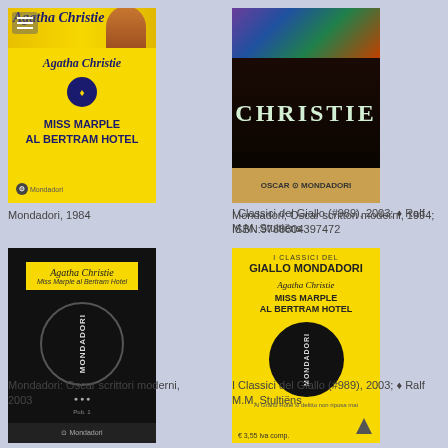[Figure (photo): Book cover: Miss Marple al Bertram Hotel by Agatha Christie, yellow cover, Mondadori 1984 edition]
Mondadori, 1984
[Figure (photo): Book cover: Christie dark cover, Oscar Mondadori 1994 edition, ISBN 9788804397472]
Mondadori; Oscar scrittori moderni, 1994; ISBN:9788804397472
[Figure (photo): Book cover: Miss Marple al Bertram Hotel, dark/black Mondadori Oscar scrittori moderni 2003 edition]
Mondadori: Oscar scrittori moderni, 2003
[Figure (photo): Book cover: Miss Marple al Bertram Hotel, yellow I Classici del Giallo Mondadori #989, 2003 edition]
I Classici del Giallo (#989), 2003; ♦ Ralf M.M. Stultiëns